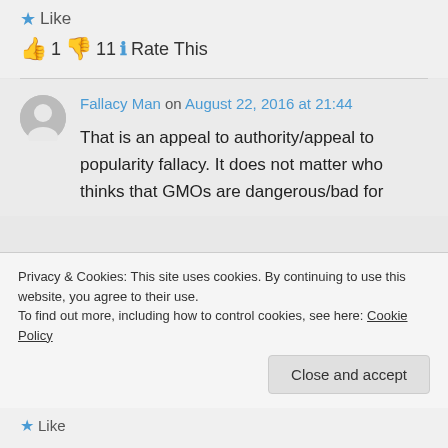★ Like
👍 1 👎 11 ℹ Rate This
Fallacy Man on August 22, 2016 at 21:44
That is an appeal to authority/appeal to popularity fallacy. It does not matter who thinks that GMOs are dangerous/bad for
Privacy & Cookies: This site uses cookies. By continuing to use this website, you agree to their use.
To find out more, including how to control cookies, see here: Cookie Policy
Close and accept
★ Like